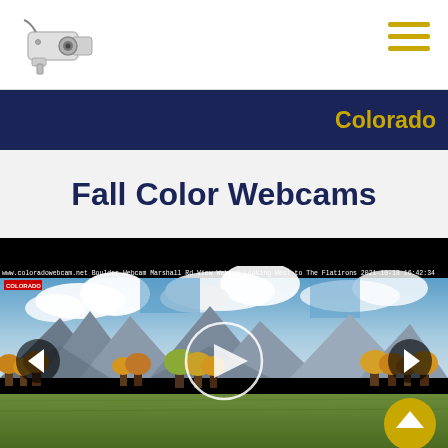[Figure (logo): Security camera icon logo in top left]
Colorado
Fall Color Webcams
[Figure (screenshot): Webcam screenshot showing Boulder webcam Marshall Rd View looking west to The Flatirons 2021-10-18 16:42:34. Mountain landscape with trees in fall color under partly cloudy sky. Navigation arrows left and right with a play button in center. Gold scroll-to-top button bottom right.]